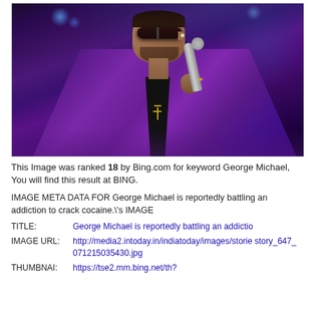[Figure (photo): Photo of a male singer (George Michael) in a purple jacket and dark sunglasses, holding a microphone, performing on stage with dark bokeh background]
This Image was ranked 18 by Bing.com for keyword George Michael, You will find this result at BING.
IMAGE META DATA FOR George Michael is reportedly battling an addiction to crack cocaine.\'s IMAGE
TITLE: George Michael is reportedly battling an addictio
IMAGE URL: http://media2.intoday.in/indiatoday/images/storie story_647_071215035430.jpg
THUMBNAI: https://tse2.mm.bing.net/th?